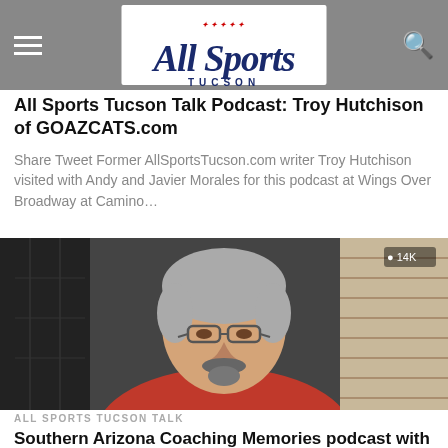All Sports Tucson — site header with logo and navigation
All Sports Tucson Talk Podcast: Troy Hutchison of GOAZCATS.com
Share Tweet Former AllSportsTucson.com writer Troy Hutchison visited with Andy and Javier Morales for this podcast at Wings Over Broadway at Camino...
[Figure (photo): Older man with grey hair and glasses wearing a red polo shirt, seated in an indoor setting; video thumbnail with view count overlay showing 14K]
ALL SPORTS TUCSON TALK
Southern Arizona Coaching Memories podcast with Arizona legend Larry McKee
Share Tweet Larry McKee arrived in Tucson as if by fate in 1968 and nearly left early in his University of Arizona...